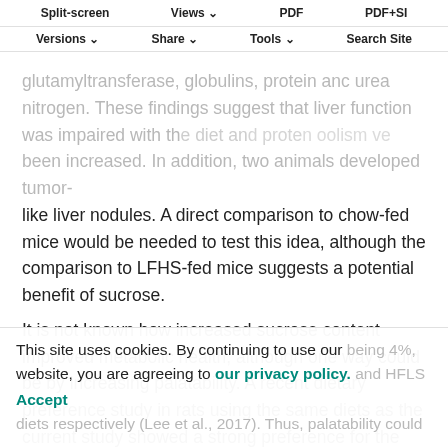Split-screen  Views  PDF  PDF+SI  Versions  Share  Tools  Search Site
glutamyltransferase, globulins, protein and urea nitrogen. These findings suggest that liver function was impaired with the diet and protein metabolism have been increased. In addition, two animals developed tumor-like liver nodules. A direct comparison to chow-fed mice would be needed to test this idea, although the comparison to LFHS-fed mice suggests a potential benefit of sucrose.
It is not known how increased sucrose content improved metabolic health, although one way could be by increasing palatability. A recent dietary preference study in rats using the same diets as the current study showed a strong preference for the HFLS diet and a secondary preference
being 4%, and HFLS diets respectively (Lee et al., 2017). Thus, palatability could
This site uses cookies. By continuing to use our website, you are agreeing to our privacy policy. Accept